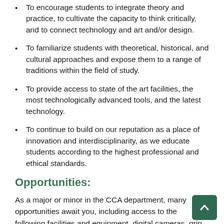To encourage students to integrate theory and practice, to cultivate the capacity to think critically, and to connect technology and art and/or design.
To familiarize students with theoretical, historical, and cultural approaches and expose them to a range of traditions within the field of study.
To provide access to state of the art facilities, the most technologically advanced tools, and the latest technology.
To continue to build on our reputation as a place of innovation and interdisciplinarity, as we educate students according to the highest professional and ethical standards.
Opportunities:
As a major or minor in the CCA department, many opportunities await you, including access to the following facilities and equipment, digital cameras, grip and